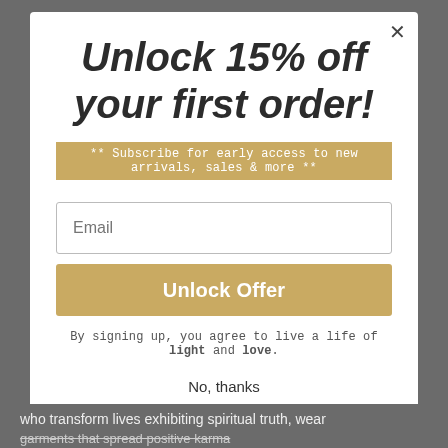Unlock 15% off your first order!
** Subscribe for early access to new arrivals, sales & more **
Email
Unlock Offer
By signing up, you agree to live a life of light and love.
No, thanks
who transform lives exhibiting spiritual truth, wear garments that spread positive karma